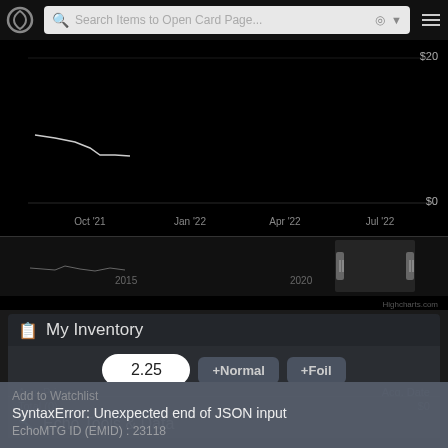Search Items to Open Card Page...
[Figure (continuous-plot): Price history line chart on black background showing price range $0-$20. X-axis labels: Oct '21, Jan '22, Apr '22, Jul '22. A navigator/range selector below shows years 2015 and 2020 with drag handles. Highcharts.com watermark visible.]
My Inventory
2.25  +Normal  +Foil
Acq. Price    Acq. Date
Total (0)    $0
Echo Tools & Data
Add to Watchlist
SyntaxError: Unexpected end of JSON input
EchoMTG ID (EMID) : 23118